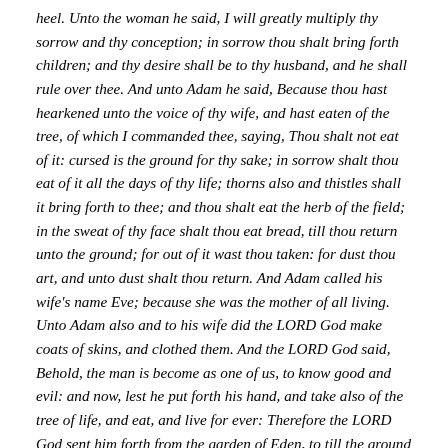heel. Unto the woman he said, I will greatly multiply thy sorrow and thy conception; in sorrow thou shalt bring forth children; and thy desire shall be to thy husband, and he shall rule over thee. And unto Adam he said, Because thou hast hearkened unto the voice of thy wife, and hast eaten of the tree, of which I commanded thee, saying, Thou shalt not eat of it: cursed is the ground for thy sake; in sorrow shalt thou eat of it all the days of thy life; thorns also and thistles shall it bring forth to thee; and thou shalt eat the herb of the field; in the sweat of thy face shalt thou eat bread, till thou return unto the ground; for out of it wast thou taken: for dust thou art, and unto dust shalt thou return. And Adam called his wife's name Eve; because she was the mother of all living. Unto Adam also and to his wife did the LORD God make coats of skins, and clothed them. And the LORD God said, Behold, the man is become as one of us, to know good and evil: and now, lest he put forth his hand, and take also of the tree of life, and eat, and live for ever: Therefore the LORD God sent him forth from the garden of Eden, to till the ground from whence he was taken. So he drove out the man; and he placed at the east of the garden of Eden Cherubims, and a flaming